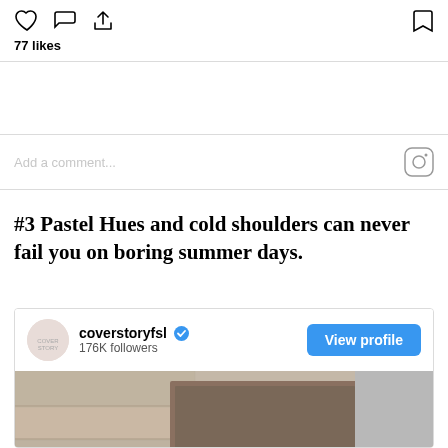[Figure (screenshot): Instagram post action icons: heart, comment, share (left), bookmark (right)]
77 likes
Add a comment...
#3 Pastel Hues and cold shoulders can never fail you on boring summer days.
[Figure (screenshot): Instagram profile card for coverstoryfsl with verified badge, 176K followers, View profile button, and a photo of a woman wearing gold aviator sunglasses in front of a stone wall]
coverstoryfsl
176K followers